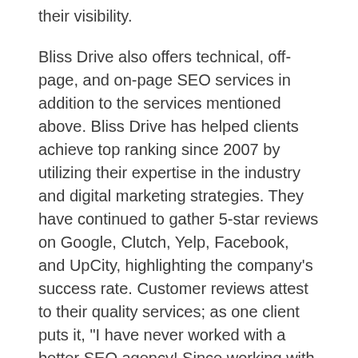their visibility.
Bliss Drive also offers technical, off-page, and on-page SEO services in addition to the services mentioned above. Bliss Drive has helped clients achieve top ranking since 2007 by utilizing their expertise in the industry and digital marketing strategies. They have continued to gather 5-star reviews on Google, Clutch, Yelp, Facebook, and UpCity, highlighting the company’s success rate. Customer reviews attest to their quality services; as one client puts it, “I have never worked with a better SEO agency! Since working with them and implementing their recommendations, we have easily outranked competitors in search engine results. They are thorough, transparent, and data-driven.”
Readers can contact their customer service department to schedule a consultation or to learn more about their range of digital marketing services.
###